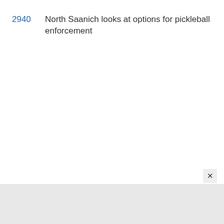2940  North Saanich looks at options for pickleball enforcement